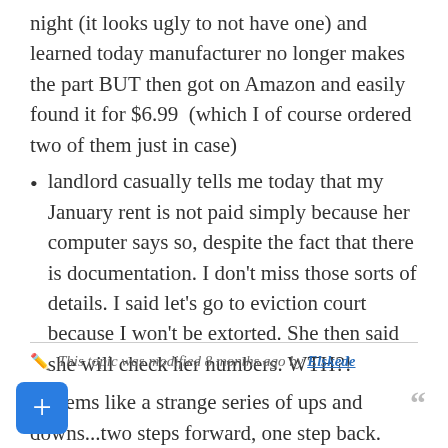night (it looks ugly to not have one) and learned today manufacturer no longer makes the part BUT then got on Amazon and easily found it for $6.99  (which I of course ordered two of them just in case)
landlord casually tells me today that my January rent is not paid simply because her computer says so, despite the fact that there is documentation. I don't miss those sorts of details. I said let's go to eviction court because I won't be extorted. She then said she will check her numbers. WTH?!
It seems like a strange series of ups and downs...two steps forward, one step back. Losses in love and money. But I am not coming out behind, I tell you. I refuse to lose so I am digging in my heels and focusing on abundance and winning. My Venus/Mars is in Cancer. Anyone else having a mountain of love and money obstacles?
This topic was modified 8 months ago by Elskede